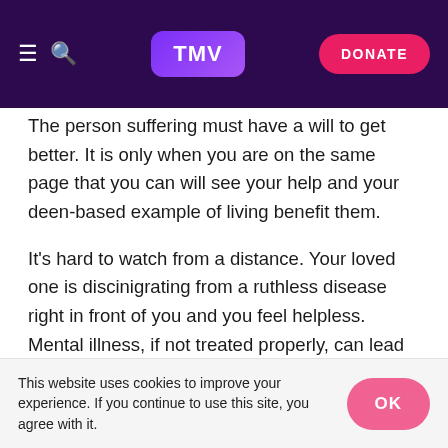TMV | DONATE
The person suffering must have a will to get better. It is only when you are on the same page that you can will see your help and your deen-based example of living benefit them.

It's hard to watch from a distance. Your loved one is discinigrating from a ruthless disease right in front of you and you feel helpless. Mental illness, if not treated properly, can lead to death. It is extremely difficult to seek recovery for all parties involved, and there are multiple factors that need awareness.
This website uses cookies to improve your experience. If you continue to use this site, you agree with it.